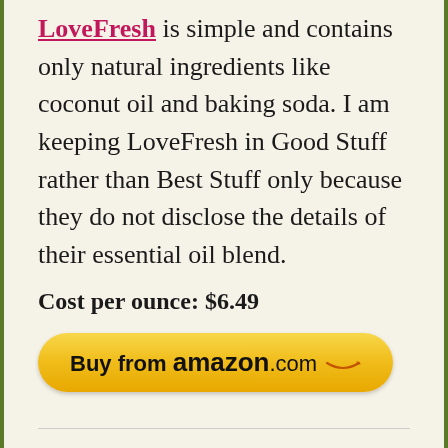LoveFresh is simple and contains only natural ingredients like coconut oil and baking soda. I am keeping LoveFresh in Good Stuff rather than Best Stuff only because they do not disclose the details of their essential oil blend.
Cost per ounce: $6.49
[Figure (other): Yellow Amazon.com 'Buy from amazon.com' button with smile arrow logo]
[Figure (photo): Black spray bottle partially visible at bottom of page]